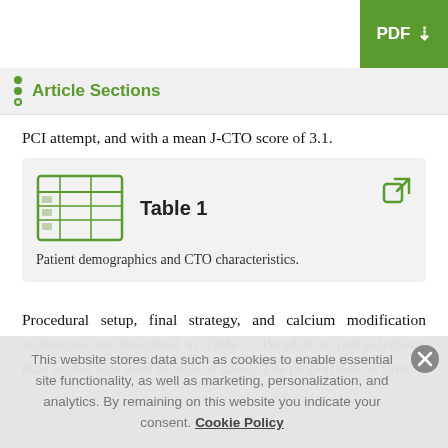+ Journal Menu  PDF ↓
Article Sections
PCI attempt, and with a mean J-CTO score of 3.1.
Table 1
Patient demographics and CTO characteristics.
Procedural setup, final strategy, and calcium modification techniques are described in Table 2. Biradial or radial-femoral dual access was used in 80% of cases. The proportions of final
This website stores data such as cookies to enable essential site functionality, as well as marketing, personalization, and analytics. By remaining on this website you indicate your consent. Cookie Policy